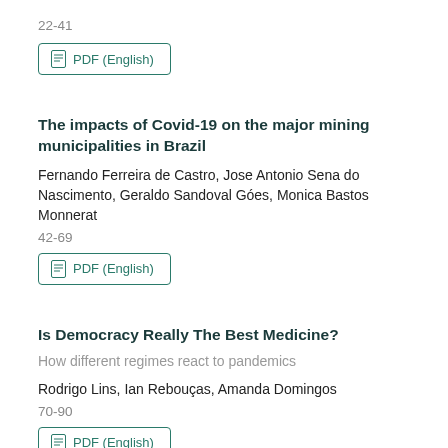22-41
[Figure (other): PDF (English) button with document icon, teal border]
The impacts of Covid-19 on the major mining municipalities in Brazil
Fernando Ferreira de Castro, Jose Antonio Sena do Nascimento, Geraldo Sandoval Góes, Monica Bastos Monnerat
42-69
[Figure (other): PDF (English) button with document icon, teal border]
Is Democracy Really The Best Medicine?
How different regimes react to pandemics
Rodrigo Lins, Ian Rebouças, Amanda Domingos
70-90
[Figure (other): PDF (English) button with document icon, teal border]
Public-private Partnerships for Medicine Provision: an